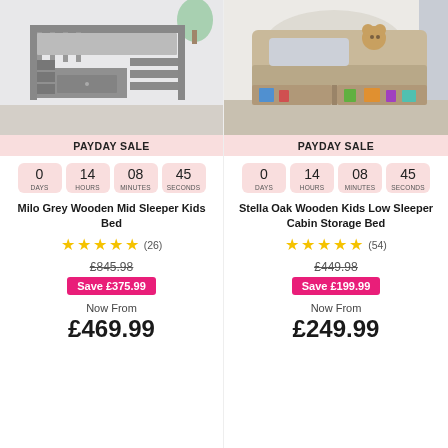[Figure (photo): Grey wooden mid sleeper bunk bed with storage in a children's bedroom]
PAYDAY SALE
0 DAYS 14 HOURS 08 MINUTES 45 SECONDS
Milo Grey Wooden Mid Sleeper Kids Bed
★★★★★ (26)
£845.98
Save £375.99
Now From £469.99
[Figure (photo): Oak wooden low sleeper cabin storage bed with toys in a children's bedroom]
PAYDAY SALE
0 DAYS 14 HOURS 08 MINUTES 45 SECONDS
Stella Oak Wooden Kids Low Sleeper Cabin Storage Bed
★★★★★ (54)
£449.98
Save £199.99
Now From £249.99